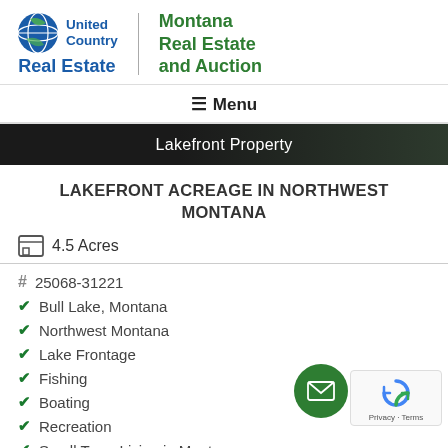[Figure (logo): United Country Real Estate logo with globe icon on left, vertical divider, Montana Real Estate and Auction text in green on right]
≡ Menu
[Figure (photo): Dark hero banner image with trees/forest in background]
Lakefront Property
LAKEFRONT ACREAGE IN NORTHWEST MONTANA
4.5 Acres
# 25068-31221
Bull Lake, Montana
Northwest Montana
Lake Frontage
Fishing
Boating
Recreation
Small Town Living in Montana
Private